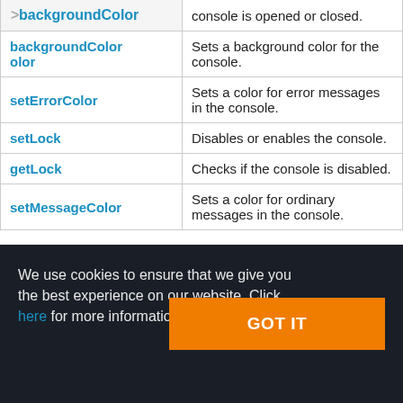| Method | Description |
| --- | --- |
| backgroundColor | Sets a background color for the console. |
| setErrorColor | Sets a color for error messages in the console. |
| setLock | Disables or enables the console. |
| getLock | Checks if the console is disabled. |
| setMessageColor | Sets a color for ordinary messages in the console. |
We use cookies to ensure that we give you the best experience on our website. Click here for more information.